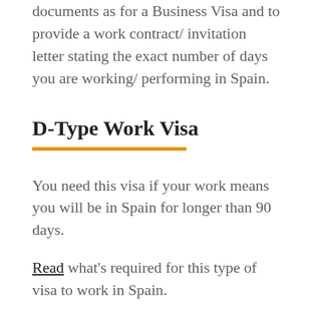documents as for a Business Visa and to provide a work contract/ invitation letter stating the exact number of days you are working/ performing in Spain.
D-Type Work Visa
You need this visa if your work means you will be in Spain for longer than 90 days.
Read what's required for this type of visa to work in Spain.